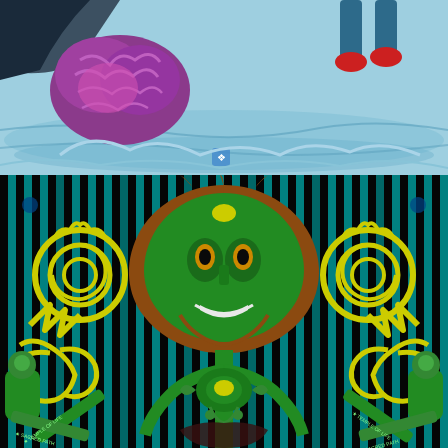[Figure (illustration): Top panel: comic book style illustration with light blue/cyan background. Visible elements include a purple/magenta brain-like creature or object on the left, a figure with red shoes visible at the top right, a dark wing or fin shape on the upper left, and a small blue symbol near center-bottom. Overall aquatic/sky blue tones.]
[Figure (illustration): Bottom panel: stylized graphic art on black background with vertical teal/cyan stripes. Central figure features an ornate mask face with green and orange/brown coloring, large yellow decorative glyphs/symbols on left and right resembling stylized script or tribal art, green tentacle or arm-like forms extending downward, crossed green staffs or scepters at the bottom corners with text on them, and circular decorative elements. Color palette: black, teal, yellow-green, orange-brown, bright green.]